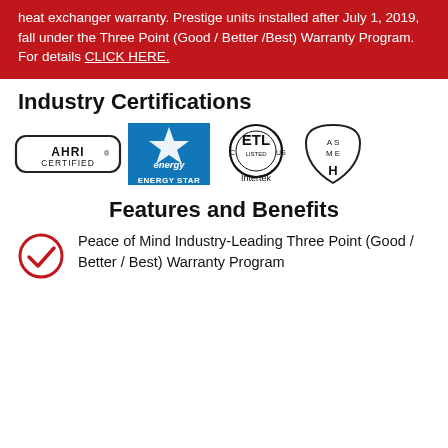heat exchanger warranty. Prestige units installed after July 1, 2019, fall under the Three Point (Good / Better /Best) Warranty Program.
For details CLICK HERE.
Industry Certifications
[Figure (logo): Four industry certification logos: AHRI CERTIFIED, ENERGY STAR, ETL Listed (Intertek), and ASME H]
Features and Benefits
Peace of Mind Industry-Leading Three Point (Good / Better / Best) Warranty Program